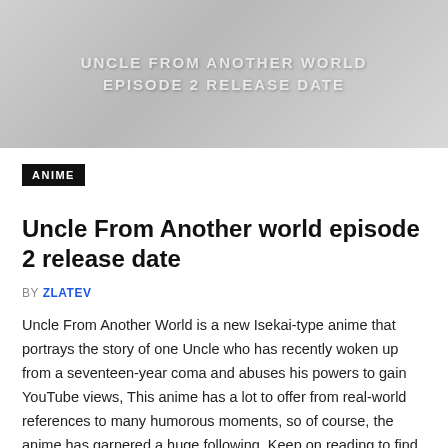[Figure (photo): Hero banner image with dark/grey tones showing text overlay: UNCLE FROM ANOTHER WORLD EPISODE 2 RELEASE DATE]
ANIME
Uncle From Another world episode 2 release date
BY ZLATEV
Uncle From Another World is a new Isekai-type anime that portrays the story of one Uncle who has recently woken up from a seventeen-year coma and abuses his powers to gain YouTube views, This anime has a lot to offer from real-world references to many humorous moments, so of course, the anime has garnered a huge following. Keep on reading to find out the newest details! Uncle From Another world episode 2 release date Uncle…